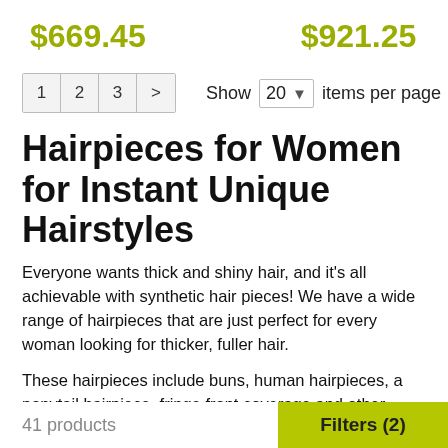$669.45   $921.25
1  2  3  >   Show  20 ▾  items per page
Hairpieces for Women for Instant Unique Hairstyles
Everyone wants thick and shiny hair, and it's all achievable with synthetic hair pieces! We have a wide range of hairpieces that are just perfect for every woman looking for thicker, fuller hair.
These hairpieces include buns, human hairpieces, a ponytail hairpiece, fringe front coverage and other pieces that give you the volume, height, and fullness you want. You can take a look at our hairpiece collections to find one
41 products    Filters (2)